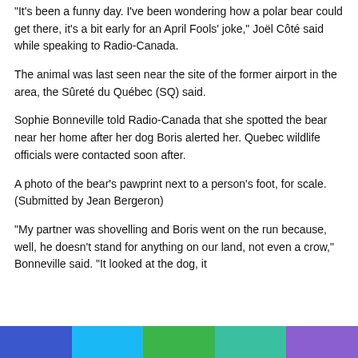“It's been a funny day. I've been wondering how a polar bear could get there, it's a bit early for an April Fools' joke,” Joël Côté said while speaking to Radio-Canada.
The animal was last seen near the site of the former airport in the area, the Sûreté du Québec (SQ) said.
Sophie Bonneville told Radio-Canada that she spotted the bear near her home after her dog Boris alerted her. Quebec wildlife officials were contacted soon after.
A photo of the bear’s pawprint next to a person’s foot, for scale. (Submitted by Jean Bergeron)
“My partner was shovelling and Boris went on the run because, well, he doesn’t stand for anything on our land, not even a crow,” Bonneville said. “It looked at the dog, it